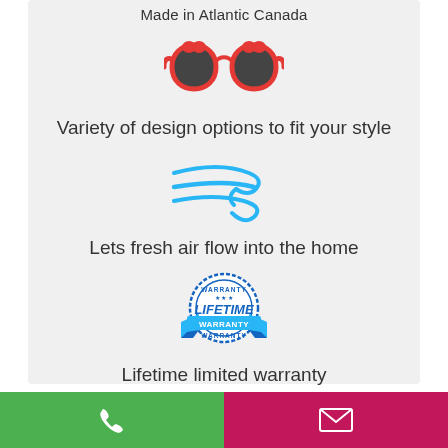Made in Atlantic Canada
[Figure (illustration): Red heart-shaped sunglasses icon]
Variety of design options to fit your style
[Figure (illustration): Blue wind/air flow icon with swirl lines]
Lets fresh air flow into the home
[Figure (illustration): Circular warranty badge with LIFETIME WARRANTY text in blue]
Lifetime limited warranty
Gallery
[Figure (infographic): Bottom action bar with green phone button and pink email button]